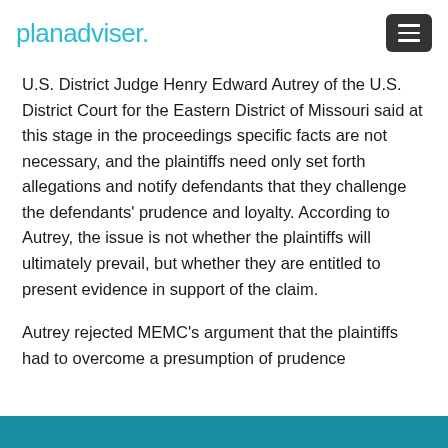planadviser.
U.S. District Judge Henry Edward Autrey of the U.S. District Court for the Eastern District of Missouri said at this stage in the proceedings specific facts are not necessary, and the plaintiffs need only set forth allegations and notify defendants that they challenge the defendants’ prudence and loyalty. According to Autrey, the issue is not whether the plaintiffs will ultimately prevail, but whether they are entitled to present evidence in support of the claim.
Autrey rejected MEMC’s argument that the plaintiffs had to overcome a presumption of prudence